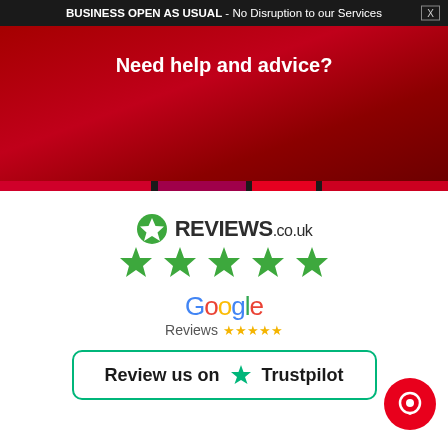BUSINESS OPEN AS USUAL - No Disruption to our Services
Need help and advice?
[Figure (logo): REVIEWS.co.uk logo with green star icon and five green stars rating]
[Figure (logo): Google Reviews logo with five gold stars]
[Figure (logo): Review us on Trustpilot badge with green star and rounded border]
[Figure (other): Red circular chat button with speech bubble icon in bottom right corner]